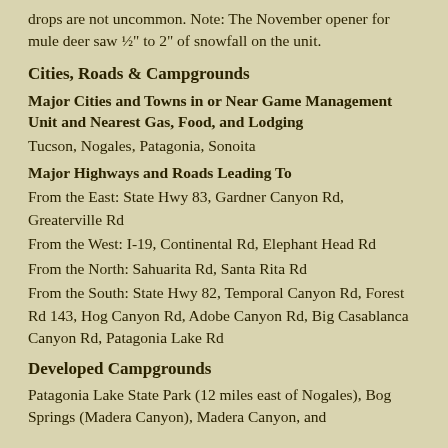drops are not uncommon. Note: The November opener for mule deer saw ½" to 2" of snowfall on the unit.
Cities, Roads & Campgrounds
Major Cities and Towns in or Near Game Management Unit and Nearest Gas, Food, and Lodging
Tucson, Nogales, Patagonia, Sonoita
Major Highways and Roads Leading To
From the East: State Hwy 83, Gardner Canyon Rd, Greaterville Rd
From the West: I-19, Continental Rd, Elephant Head Rd
From the North: Sahuarita Rd, Santa Rita Rd
From the South: State Hwy 82, Temporal Canyon Rd, Forest Rd 143, Hog Canyon Rd, Adobe Canyon Rd, Big Casablanca Canyon Rd, Patagonia Lake Rd
Developed Campgrounds
Patagonia Lake State Park (12 miles east of Nogales), Bog Springs (Madera Canyon), Madera Canyon, and